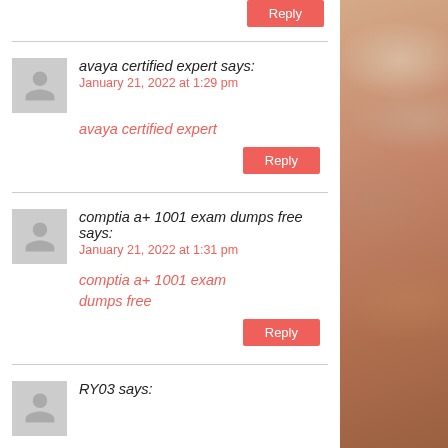Reply (top, partial)
avaya certified expert says: January 21, 2022 at 1:29 pm
avaya certified expert
Reply
comptia a+ 1001 exam dumps free says: January 21, 2022 at 1:31 pm
comptia a+ 1001 exam dumps free
Reply
RY03 says: